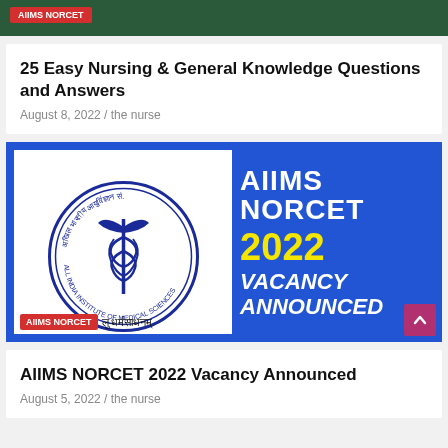AIIMS NORCET
25 Easy Nursing & General Knowledge Questions and Answers
August 8, 2022 / the nurse
[Figure (infographic): AIIMS NORCET 2022 Vacancy Announced banner with AIIMS logo on left (blue circular emblem with caduceus, text in Hindi and English: ALL INDIA INSTITUTE OF MEDICAL SCIENCES) and bold white and yellow text on blue background: AIIMS NORCET 2022 VACANCY ANNOUNCED]
AIIMS NORCET 2022 Vacancy Announced
August 5, 2022 / the nurse